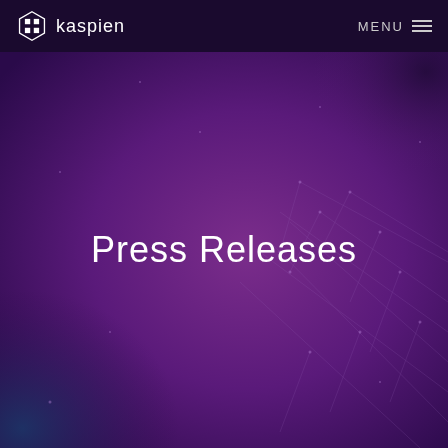kaspien  MENU
[Figure (illustration): Dark purple hero background with subtle geometric network/constellation lines and nodes, gradient from deep purple-blue at bottom-left to rich purple across the image]
Press Releases